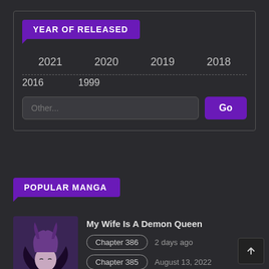YEAR OF RELEASED
2021  2020  2019  2018  2016  1999
Other... Go
POPULAR MANGA
[Figure (illustration): Manga cover thumbnail for My Wife Is A Demon Queen, showing a purple/dark fantasy demon queen character]
My Wife Is A Demon Queen
Chapter 386  2 days ago
Chapter 385  August 13, 2022
Monkey Peak